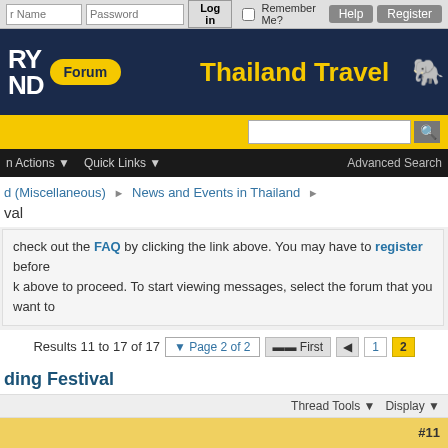Login bar with User Name, Password fields, Log in button, Remember Me checkbox, Help and Register buttons
[Figure (screenshot): Thailand Travel Forum header banner with dark navy background, Forum badge in yellow, site initials RY/ND on left, Thailand Travel title in yellow, elephant icon on right]
Search bar with yellow background and search input field
Navigation bar: Forum Actions, Quick Links, Advanced Search
d (Miscellaneous) > News and Events in Thailand >
val
check out the FAQ by clicking the link above. You may have to register before k above to proceed. To start viewing messages, select the forum that you want to
Results 11 to 17 of 17   Page 2 of 2  First  1  2
ding Festival
Thread Tools   Display
#11
| Join Date: | Nov 2015 |
| --- | --- |
| Posts: | 434 |